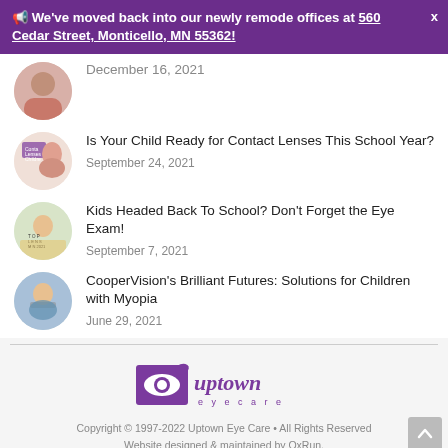📢 We've moved back into our newly remode offices at 560 Cedar Street, Monticello, MN 55362!
December 16, 2021
Is Your Child Ready for Contact Lenses This School Year?
September 24, 2021
Kids Headed Back To School? Don't Forget the Eye Exam!
September 7, 2021
CooperVision's Brilliant Futures: Solutions for Children with Myopia
June 29, 2021
[Figure (logo): Uptown Eye Care logo with stylized eye icon and script text 'uptown eye care']
Copyright © 1997-2022 Uptown Eye Care • All Rights Reserved
Website designed & maintained by OxRun.